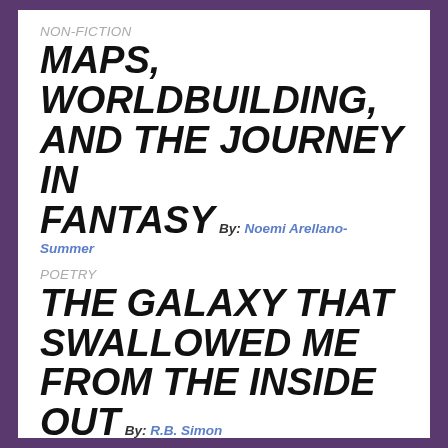NON-FICTION
MAPS, WORLDBUILDING, AND THE JOURNEY IN FANTASY
By: Noemi Arellano-Summer
POETRY
THE GALAXY THAT SWALLOWED ME FROM THE INSIDE OUT
By: R.B. Simon